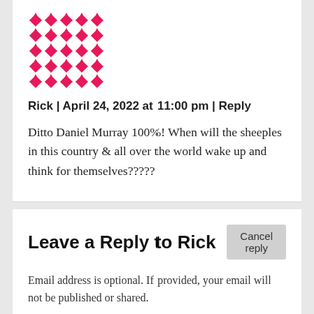[Figure (illustration): Geometric pink/magenta pattern avatar with diamond and arrow shapes arranged in a square grid]
Rick | April 24, 2022 at 11:00 pm | Reply
Ditto Daniel Murray 100%! When will the sheeples in this country & all over the world wake up and think for themselves?????
Leave a Reply to Rick
Cancel reply
Email address is optional. If provided, your email will not be published or shared.